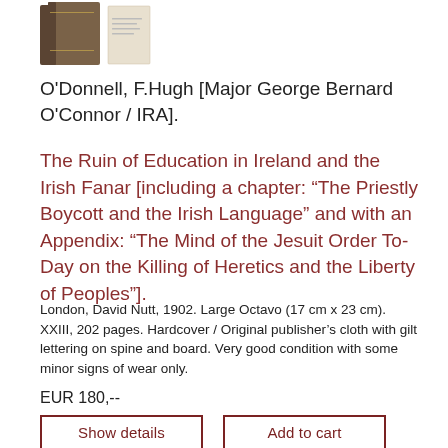[Figure (photo): Two brown hardcover books with gilt lettering and a loose paper/cream colored document beside them]
O'Donnell, F.Hugh [Major George Bernard O'Connor / IRA].
The Ruin of Education in Ireland and the Irish Fanar [including a chapter: “The Priestly Boycott and the Irish Language” and with an Appendix: “The Mind of the Jesuit Order To-Day on the Killing of Heretics and the Liberty of Peoples”].
London, David Nutt, 1902. Large Octavo (17 cm x 23 cm). XXIII, 202 pages. Hardcover / Original publisher’s cloth with gilt lettering on spine and board. Very good condition with some minor signs of wear only.
EUR 180,--
Show details
Add to cart